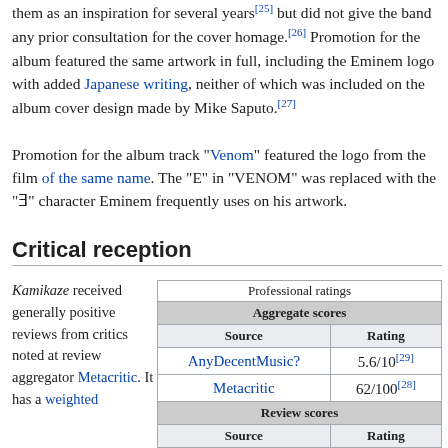them as an inspiration for several years[25] but did not give the band any prior consultation for the cover homage.[26] Promotion for the album featured the same artwork in full, including the Eminem logo with added Japanese writing, neither of which was included on the album cover design made by Mike Saputo.[27]
Promotion for the album track "Venom" featured the logo from the film of the same name. The "E" in "VENOM" was replaced with the "Ǝ" character Eminem frequently uses on his artwork.
Critical reception
Kamikaze received generally positive reviews from critics noted at review aggregator Metacritic. It has a weighted
| Source | Rating |
| --- | --- |
| Professional ratings |  |
| Aggregate scores |  |
| Source | Rating |
| AnyDecentMusic? | 5.6/10[29] |
| Metacritic | 62/100[28] |
| Review scores |  |
| Source | Rating |
| AllMusic | ★★★★☆[30] |
| The Daily Telegraph | ★★★★★[31] |
| Consequence of Sound | B-[32] |
| The Guardian | ★★★★☆[33] |